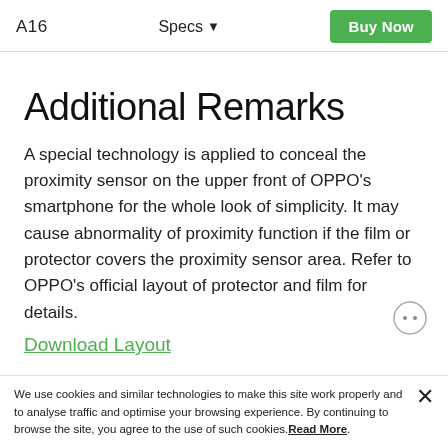A16   Specs ▾   Buy Now
Additional Remarks
A special technology is applied to conceal the proximity sensor on the upper front of OPPO's smartphone for the whole look of simplicity. It may cause abnormality of proximity function if the film or protector covers the proximity sensor area. Refer to OPPO's official layout of protector and film for details.
Download Layout
We use cookies and similar technologies to make this site work properly and to analyse traffic and optimise your browsing experience. By continuing to browse the site, you agree to the use of such cookies. Read More.